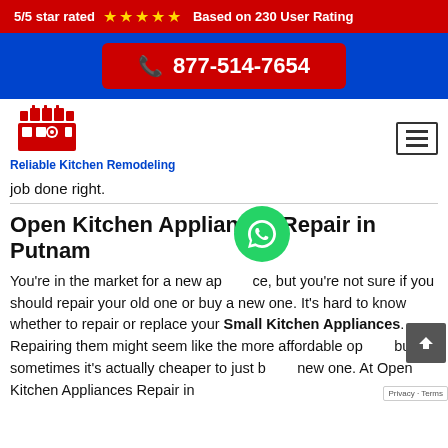5/5 star rated ★★★★★ Based on 230 User Rating
877-514-7654
[Figure (logo): Reliable Kitchen Remodeling logo with kitchen illustration]
job done right.
Open Kitchen Appliances Repair in Putnam
You're in the market for a new appliance, but you're not sure if you should repair your old one or buy a new one. It's hard to know whether to repair or replace your Small Kitchen Appliances. Repairing them might seem like the more affordable op but sometimes it's actually cheaper to just b new one. At Open Kitchen Appliances Repair in P